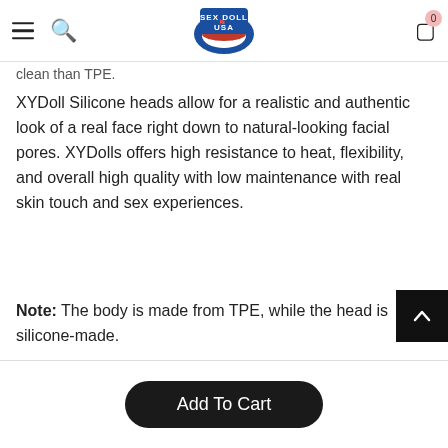[Nav bar: hamburger menu, search icon, Sex Doll USA logo, cart icon with 0]
clean than TPE.
XYDoll Silicone heads allow for a realistic and authentic look of a real face right down to natural-looking facial pores. XYDolls offers high resistance to heat, flexibility, and overall high quality with low maintenance with real skin touch and sex experiences.
Note: The body is made from TPE, while the head is silicone-made.
Important Details:
Add To Cart